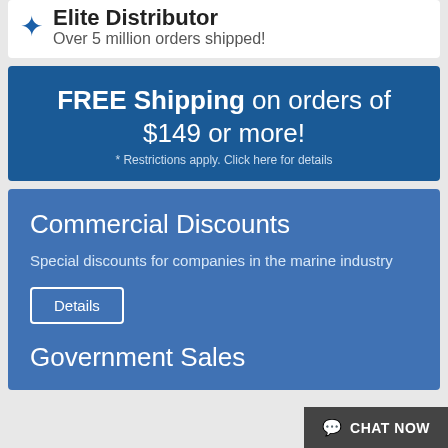Elite Distributor
Over 5 million orders shipped!
FREE Shipping on orders of $149 or more!
* Restrictions apply. Click here for details
Commercial Discounts
Special discounts for companies in the marine industry
Details
Government Sales
CHAT NOW